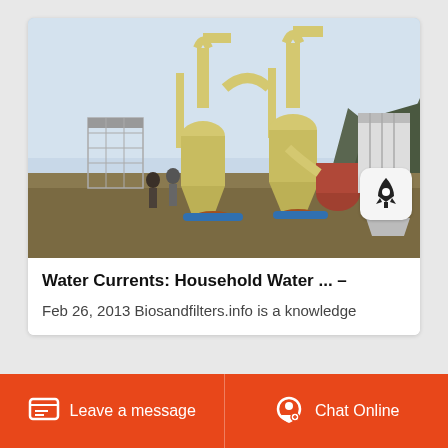[Figure (photo): Industrial milling/grinding equipment with yellow cyclone separators and dust collectors in an outdoor setting with mountains in the background. Two workers visible on the left side.]
Water Currents: Household Water ... –
Feb 26, 2013 Biosandfilters.info is a knowledge